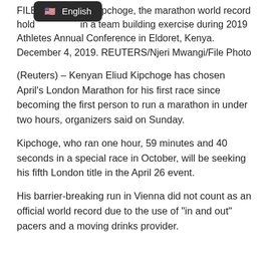FILE — Kipchoge, the marathon world record holder — in a team building exercise during 2019 Athletes Annual Conference in Eldoret, Kenya. December 4, 2019. REUTERS/Njeri Mwangi/File Photo
(Reuters) – Kenyan Eliud Kipchoge has chosen April's London Marathon for his first race since becoming the first person to run a marathon in under two hours, organizers said on Sunday.
Kipchoge, who ran one hour, 59 minutes and 40 seconds in a special race in October, will be seeking his fifth London title in the April 26 event.
His barrier-breaking run in Vienna did not count as an official world record due to the use of “in and out” pacers and a moving drinks provider.